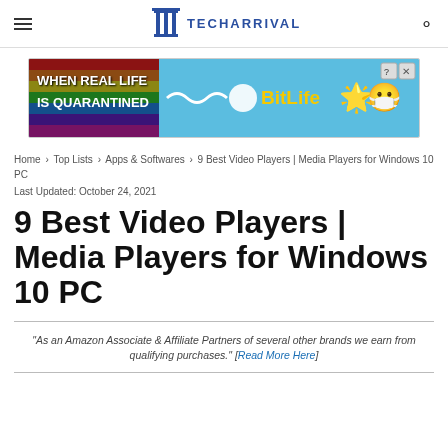TECHARRIVAL
[Figure (other): Advertisement banner for BitLife mobile game: 'WHEN REAL LIFE IS QUARANTINED' with rainbow and emoji graphics on a blue background]
Home › Top Lists › Apps & Softwares › 9 Best Video Players | Media Players for Windows 10 PC
Last Updated: October 24, 2021
9 Best Video Players | Media Players for Windows 10 PC
"As an Amazon Associate & Affiliate Partners of several other brands we earn from qualifying purchases." [Read More Here]